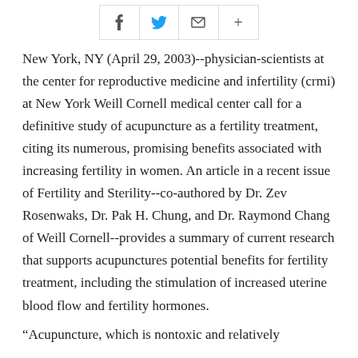[Figure (other): Social sharing buttons bar with icons for Facebook, Twitter, email, and plus/share]
New York, NY (April 29, 2003)--physician-scientists at the center for reproductive medicine and infertility (crmi) at New York Weill Cornell medical center call for a definitive study of acupuncture as a fertility treatment, citing its numerous, promising benefits associated with increasing fertility in women. An article in a recent issue of Fertility and Sterility--co-authored by Dr. Zev Rosenwaks, Dr. Pak H. Chung, and Dr. Raymond Chang of Weill Cornell--provides a summary of current research that supports acupunctures potential benefits for fertility treatment, including the stimulation of increased uterine blood flow and fertility hormones.
“Acupuncture, which is nontoxic and relatively